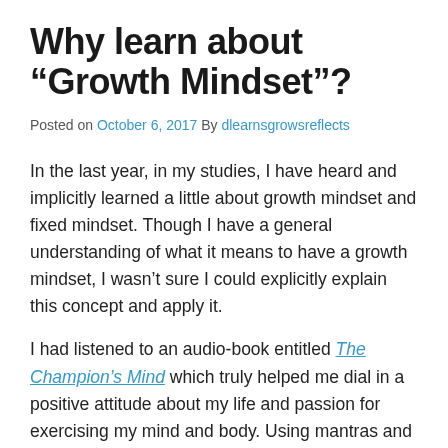Why learn about “Growth Mindset”?
Posted on October 6, 2017 By dlearnsgrowsreflects
In the last year, in my studies, I have heard and implicitly learned a little about growth mindset and fixed mindset. Though I have a general understanding of what it means to have a growth mindset, I wasn’t sure I could explicitly explain this concept and apply it.
I had listened to an audio-book entitled The Champion’s Mind which truly helped me dial in a positive attitude about my life and passion for exercising my mind and body. Using mantras and positive self-talk has truly helped